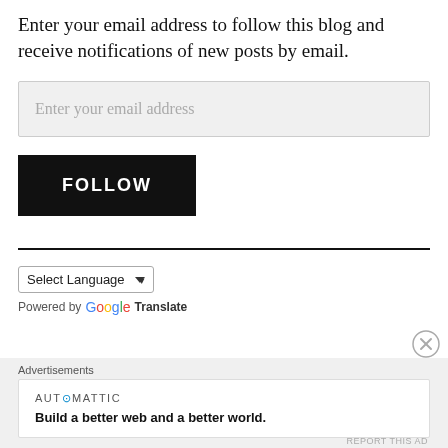Enter your email address to follow this blog and receive notifications of new posts by email.
Enter your email address
FOLLOW
Select Language
Powered by Google Translate
Advertisements
AUT⊙MATTIC
Build a better web and a better world.